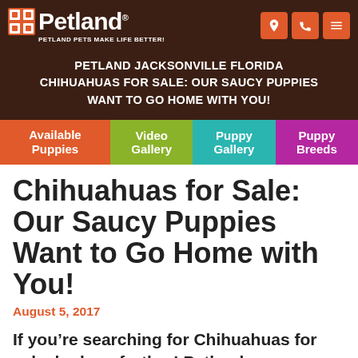Petland Pets Make Life Better!
PETLAND JACKSONVILLE FLORIDA CHIHUAHUAS FOR SALE: OUR SAUCY PUPPIES WANT TO GO HOME WITH YOU!
Available Puppies | Video Gallery | Puppy Gallery | Puppy Breeds
Chihuahuas for Sale: Our Saucy Puppies Want to Go Home with You!
August 5, 2017
If you're searching for Chihuahuas for sale, look no further! Petland Jacksonville has all the feisty